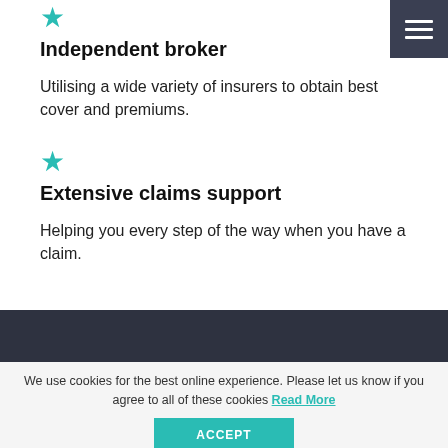Independent broker
Utilising a wide variety of insurers to obtain best cover and premiums.
Extensive claims support
Helping you every step of the way when you have a claim.
We use cookies for the best online experience. Please let us know if you agree to all of these cookies Read More
ACCEPT